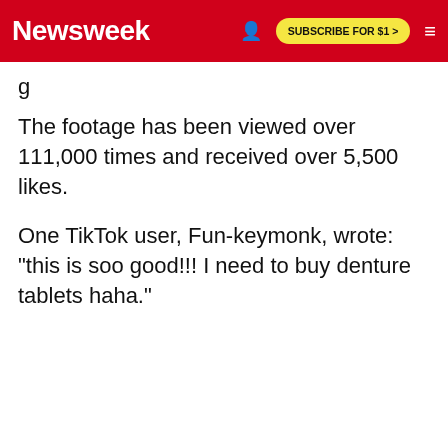Newsweek | SUBSCRIBE FOR $1 >
The footage has been viewed over 111,000 times and received over 5,500 likes.
One TikTok user, Fun-keymonk, wrote: "this is soo good!!! I need to buy denture tablets haha."